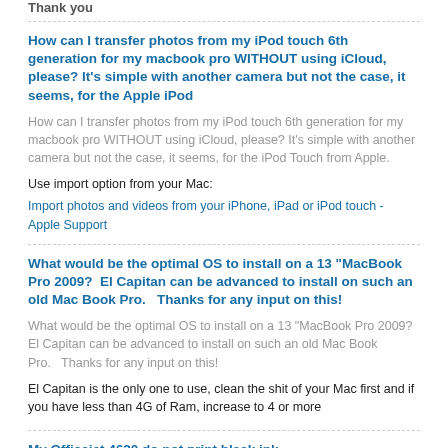Thank you
How can I transfer photos from my iPod touch 6th generation for my macbook pro WITHOUT using iCloud, please? It's simple with another camera but not the case, it seems, for the Apple iPod
How can I transfer photos from my iPod touch 6th generation for my macbook pro WITHOUT using iCloud, please? It's simple with another camera but not the case, it seems, for the iPod Touch from Apple.
Use import option from your Mac:
Import photos and videos from your iPhone, iPad or iPod touch - Apple Support
What would be the optimal OS to install on a 13 "MacBook Pro 2009?  El Capitan can be advanced to install on such an old Mac Book Pro.   Thanks for any input on this!
What would be the optimal OS to install on a 13 "MacBook Pro 2009?  El Capitan can be advanced to install on such an old Mac Book Pro.   Thanks for any input on this!
El Capitan is the only one to use, clean the shit of your Mac first and if you have less than 4G of Ram, increase to 4 or more
My Officejet 4620 do not print black ink
I replaced the black cartridge on my Officejet 4620 with a new high-capacity HP cartridge and it won't print black ink on the test page, any application or function of Copier.  I have reset the printer